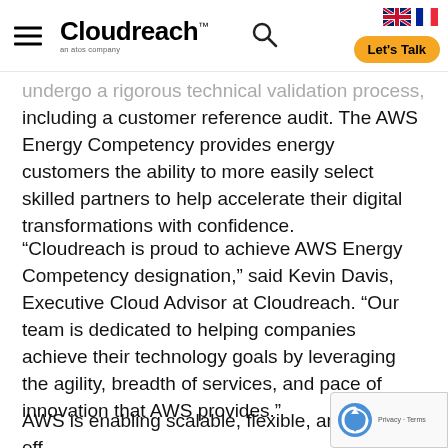Cloudreach — an Atos company navigation header with hamburger menu, search icon, language flags (UK, France), and Let's Talk button
undergo a rigorous technical validation process, including a customer reference audit. The AWS Energy Competency provides energy customers the ability to more easily select skilled partners to help accelerate their digital transformations with confidence.
“Cloudreach is proud to achieve AWS Energy Competency designation,” said Kevin Davis, Executive Cloud Advisor at Cloudreach. “Our team is dedicated to helping companies achieve their technology goals by leveraging the agility, breadth of services, and pace of innovation that AWS provides.”
AWS is enabling scalable, flexible, and cost-eff... solutions from startups to global enterprises. To